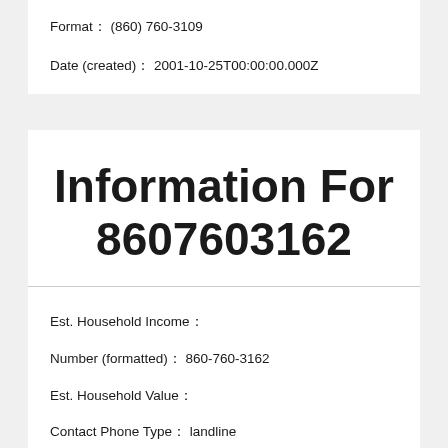Format:  (860) 760-3109
Date (created):  2001-10-25T00:00:00.000Z
Information For 8607603162
Est. Household Income:
Number (formatted):  860-760-3162
Est. Household Value:
Contact Phone Type:  landline